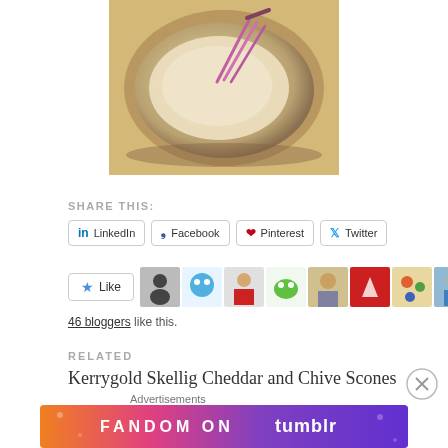[Figure (photo): Food photo showing a bowl with flour and a whisk, top-down view with warm tones]
SHARE THIS:
LinkedIn | Facebook | Pinterest | Twitter (share buttons)
Like (star) — 46 bloggers like this.
RELATED
Kerrygold Skellig Cheddar and Chive Scones
Advertisements
[Figure (infographic): Fandom on Tumblr advertisement banner with colorful gradient background]